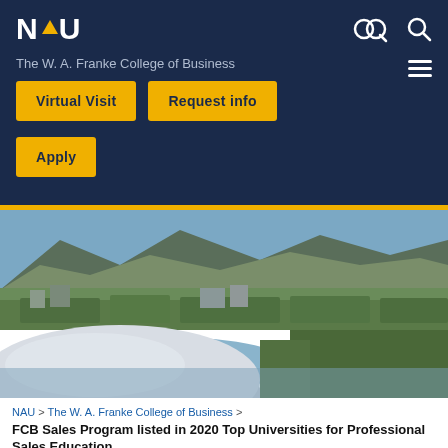NAU
The W. A. Franke College of Business
Virtual Visit
Request info
Apply
[Figure (photo): Aerial view of NAU campus in Flagstaff with mountains in background, showing a large dome structure in foreground and forested campus grounds]
NAU  >  The W. A. Franke College of Business  >
FCB Sales Program listed in 2020 Top Universities for Professional Sales Education